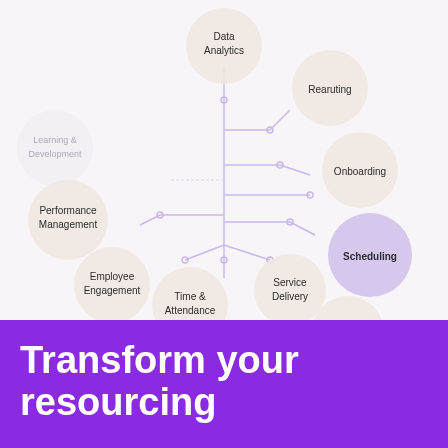[Figure (infographic): Network/hub diagram showing interconnected circles representing HR/workforce management modules: Data Analytics (top center), Recruiting (upper right), Onboarding (right), Scheduling (right, purple highlight), Fulfillment (lower right), Service Delivery (lower right), Time & Attendance (bottom center), Employee Engagement (bottom left), Performance Management (left), Learning & Development (left, faded). Connected by purple circuit-board style lines from a central hub.]
Transform your resourcing